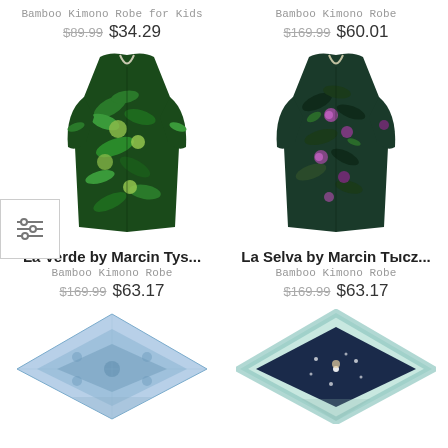Bamboo Kimono Robe for Kids
$89.99 $34.29
Bamboo Kimono Robe
$169.99 $60.01
[Figure (photo): Green tropical print bamboo kimono robe for kids]
[Figure (photo): Dark floral print bamboo kimono robe with purple flowers]
La Verde by Marcin Tys...
Bamboo Kimono Robe
$169.99 $63.17
La Selva by Marcin Tысz...
Bamboo Kimono Robe
$169.99 $63.17
[Figure (photo): Blue patterned folded blanket or pillow]
[Figure (photo): Light teal/mint bordered folded blanket with dark navy and white space pattern]